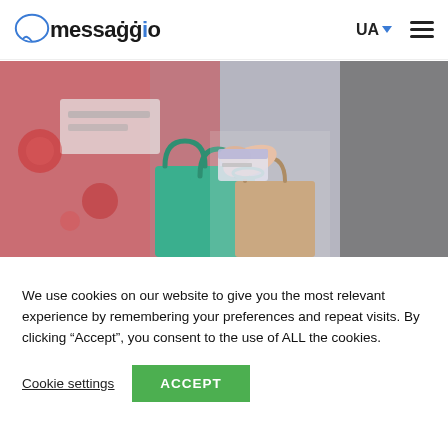messaggio | UA | menu
[Figure (photo): Woman holding green shopping bags and a credit card in a store with festive decorations in the background]
We use cookies on our website to give you the most relevant experience by remembering your preferences and repeat visits. By clicking “Accept”, you consent to the use of ALL the cookies.
Cookie settings | ACCEPT